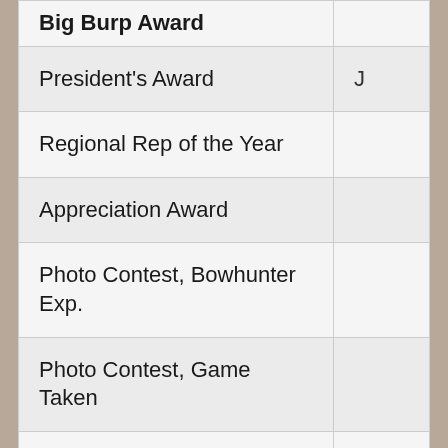| Award Name |  |
| --- | --- |
| Big Burp Award |  |
| President's Award | J |
| Regional Rep of the Year |  |
| Appreciation Award |  |
| Photo Contest, Bowhunter Exp. |  |
| Photo Contest, Game Taken |  |
| Affiliated Club of the Year |  |
| DNR Employee of the Year |  |
| Landowner of the Year |  |